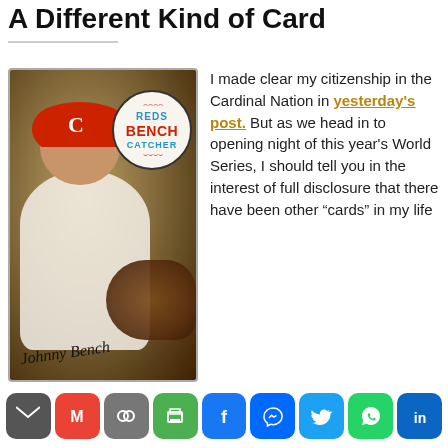A Different Kind of Card
[Figure (photo): Vintage Johnny Bench baseball card showing him in Cincinnati Reds uniform with catcher's mitt, with a circular baseball emblem showing REDS / BENCH / CATCHER in blue and red text]
I made clear my citizenship in the Cardinal Nation in yesterday's post. But as we head in to opening night of this year's World Series, I should tell you in the interest of full disclosure that there have been other "cards" in my life